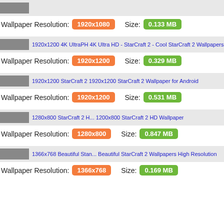[Figure (screenshot): Thumbnail of wallpaper image with grey placeholder, clipped at top]
Wallpaper Resolution: 1920x1080  Size: 0.133 MB
[Figure (screenshot): 1920x1200 4K UltraPH 4K Ultra HD - StarCraft 2 - Cool StarCraft 2 Wallpapers thumbnail row]
Wallpaper Resolution: 1920x1200  Size: 0.329 MB
[Figure (screenshot): 1920x1200 StarCraft 2 1920x1200 StarCraft 2 Wallpaper for Android thumbnail row]
Wallpaper Resolution: 1920x1200  Size: 0.531 MB
[Figure (screenshot): 1280x800 StarCraft 2 H... 1200x800 StarCraft 2 HD Wallpaper thumbnail row]
Wallpaper Resolution: 1280x800  Size: 0.847 MB
[Figure (screenshot): 1366x768 Beautiful Stan... Beautiful StarCraft 2 Wallpapers High Resolution thumbnail row]
Wallpaper Resolution: 1366x768  Size: 0.169 MB